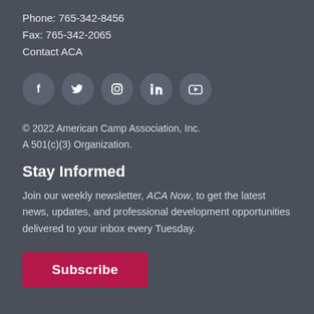Phone: 765-342-8456
Fax: 765-342-2065
Contact ACA
[Figure (infographic): Row of five social media icon circles: Facebook, Twitter, Instagram, LinkedIn, YouTube]
© 2022 American Camp Association, Inc.
A 501(c)(3) Organization.
Stay Informed
Join our weekly newsletter, ACA Now, to get the latest news, updates, and professional development opportunities delivered to your inbox every Tuesday.
Subscribe